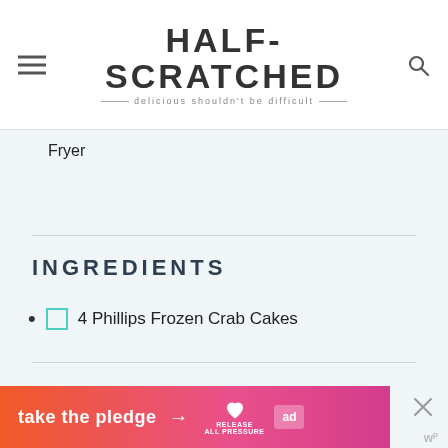HALF-SCRATCHED — delicious shouldn't be difficult
Fryer
INGREDIENTS
4 Phillips Frozen Crab Cakes
INSTRUCTIONS
[Figure (other): Ad banner: take the pledge → RELEASE / ad badge with X close button and w logo]